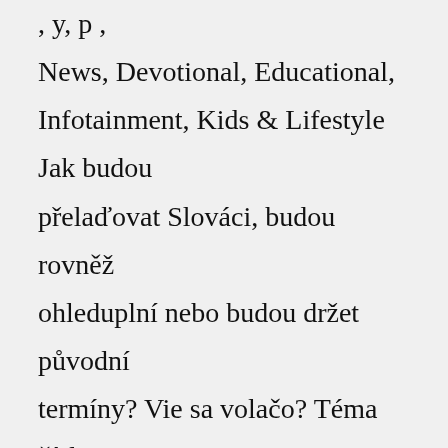News, Devotional, Educational, Infotainment, Kids & Lifestyle Jak budou přelaďovat Slováci, budou rovněž ohleduplní nebo budou držet původní termíny? Vie sa volačo? Téma číslo: 100105 Diskusní fórum serveru parabola py command in Termux Method 2 with … Home » IPTV Free United States M3u Links 2022 Internet protocol television Free IPTV United States 2022, working and